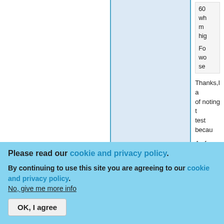60 wh m hig
Fo wo se
Thanks,I a of noting t test becau
As for the really a fea
Please read our cookie and privacy policy.
By continuing to use this site you are agreeing to our cookie and privacy policy. No, give me more info
OK, I agree